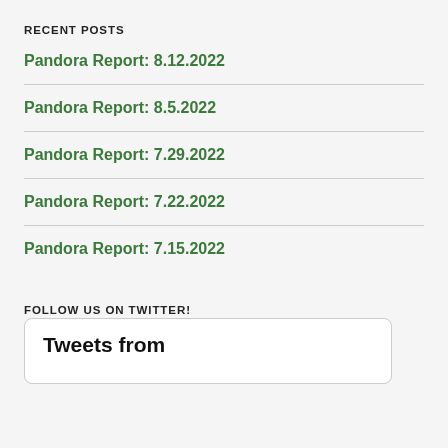RECENT POSTS
Pandora Report: 8.12.2022
Pandora Report: 8.5.2022
Pandora Report: 7.29.2022
Pandora Report: 7.22.2022
Pandora Report: 7.15.2022
FOLLOW US ON TWITTER!
Tweets from